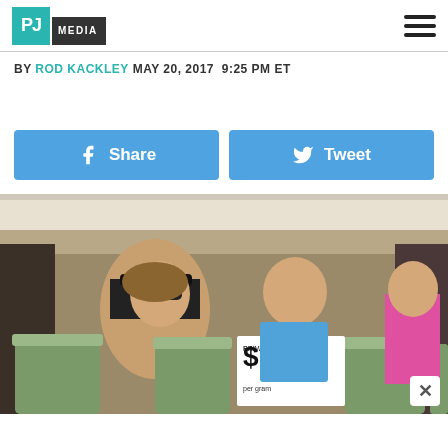PJ MEDIA
BY ROD KACKLEY MAY 20, 2017 9:25 PM ET
[Figure (other): Facebook Share button and Twitter Tweet button, both blue]
[Figure (photo): Two women smiling at an outdoor cannabis event booth with large glass jars of marijuana and a sign reading PRIVATE RESERVE $10 per gram]